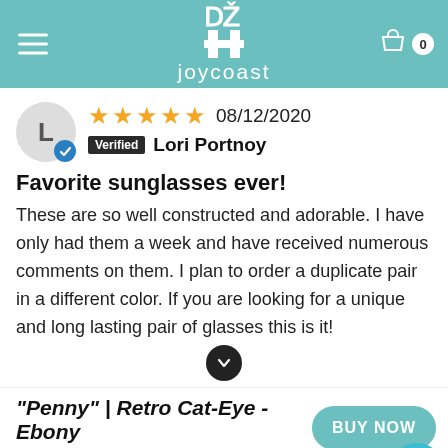joycoast
★★★★★ 08/12/2020
Verified Lori Portnoy
Favorite sunglasses ever!
These are so well constructed and adorable. I have only had them a week and have received numerous comments on them. I plan to order a duplicate pair in a different color. If you are looking for a unique and long lasting pair of glasses this is it!
"Penny" | Retro Cat-Eye - Ebony
$120.00  x 1